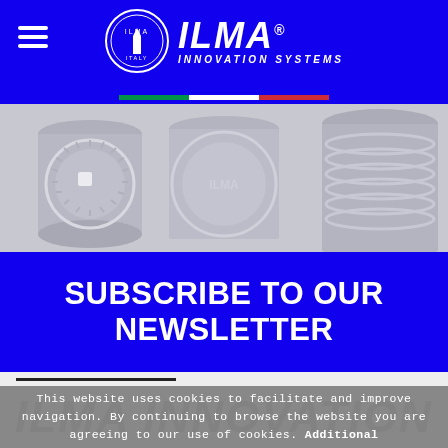ILMA Innovation Systems – navigation header with logo and hamburger menu
[Figure (photo): Industrial machinery photo showing circular saw blades and cylindrical components in light grey/white tones]
SUBSCRIBE TO OUR NEWSLETTER
This website uses cookies to facilitate and improve navigation. By continuing to browse the website you are agreeing to our use of cookies. Additional